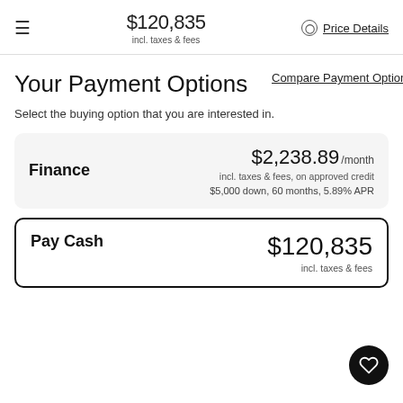$120,835 incl. taxes & fees Price Details
Your Payment Options
Compare Payment Options
Select the buying option that you are interested in.
Finance $2,238.89/month incl. taxes & fees, on approved credit $5,000 down, 60 months, 5.89% APR
Pay Cash $120,835 incl. taxes & fees